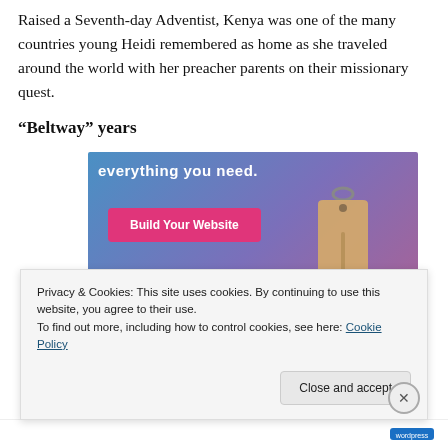Raised a Seventh-day Adventist, Kenya was one of the many countries young Heidi remembered as home as she traveled around the world with her preacher parents on their missionary quest.
“Beltway” years
[Figure (screenshot): Web advertisement screenshot with blue-to-purple gradient background, white bold text reading 'everything you need.', a pink/magenta 'Build Your Website' button, and a 3D price tag icon on the right side.]
Privacy & Cookies: This site uses cookies. By continuing to use this website, you agree to their use.
To find out more, including how to control cookies, see here: Cookie Policy
Close and accept